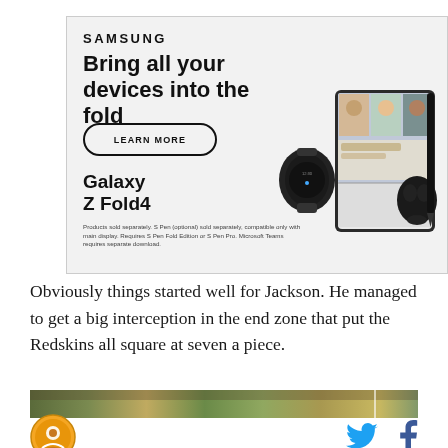[Figure (illustration): Samsung advertisement for Galaxy Z Fold4. Shows 'SAMSUNG' brand name, headline 'Bring all your devices into the fold', a 'LEARN MORE' button, 'Galaxy Z Fold4' product name, product images including a smartwatch, folding phone with video call on screen, and wireless earbuds with stylus. Disclaimer text at bottom reads: 'Products sold separately. S Pen (optional) sold separately, compatible only with main display. Requires S Pen Fold Edition or S Pen Pro. Microsoft Teams requires separate download.']
Obviously things started well for Jackson. He managed to get a big interception in the end zone that put the Redskins all square at seven a piece.
[Figure (photo): Partial view of a football game scene, showing a green field with players and crowd.]
[Figure (logo): Circular logo with golden/orange colors, appears to be a sports or media brand logo.]
[Figure (illustration): Twitter bird icon in blue.]
[Figure (illustration): Facebook 'f' icon in dark blue/navy.]